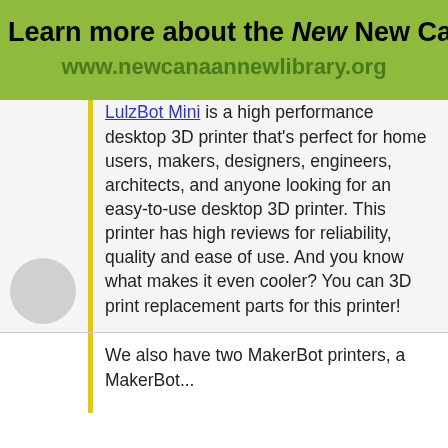Learn more about the New New Canaan Library -
www.newcanaannewlibrary.org
LulzBot Mini is a high performance desktop 3D printer that's perfect for home users, makers, designers, engineers, architects, and anyone looking for an easy-to-use desktop 3D printer. This printer has high reviews for reliability, quality and ease of use. And you know what makes it even cooler? You can 3D print replacement parts for this printer!
We also have two MakerBot printers, a MakerBot...